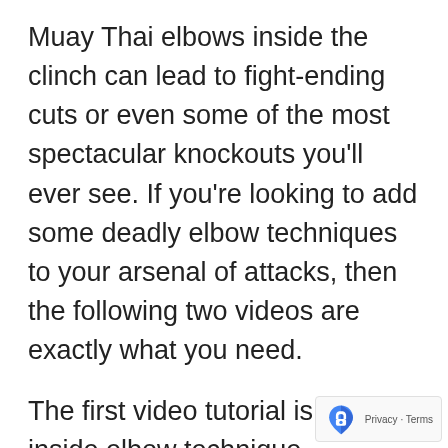Muay Thai elbows inside the clinch can lead to fight-ending cuts or even some of the most spectacular knockouts you'll ever see. If you're looking to add some deadly elbow techniques to your arsenal of attacks, then the following two videos are exactly what you need.
The first video tutorial is a killer inside elbow technique demonstrated by Muay Thai champion Mathias Gallo Cassarino of 7 Muay Thai Gym. Mathia has used this elbow technique in a